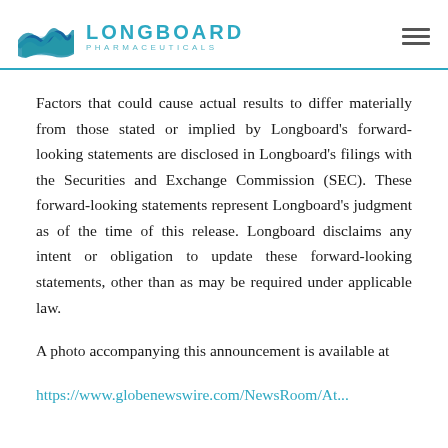LONGBOARD PHARMACEUTICALS
Factors that could cause actual results to differ materially from those stated or implied by Longboard’s forward-looking statements are disclosed in Longboard’s filings with the Securities and Exchange Commission (SEC). These forward-looking statements represent Longboard’s judgment as of the time of this release. Longboard disclaims any intent or obligation to update these forward-looking statements, other than as may be required under applicable law.
A photo accompanying this announcement is available at https://www.globenewswire.com/NewsRoom/At...